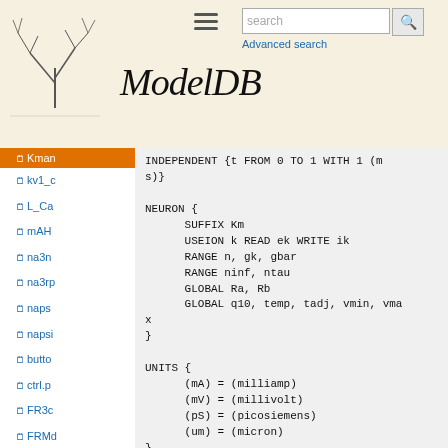ModelDB — search interface header
Kman (partially visible, highlighted)
kv1_c
L_Ca
mAH
na3n
na3rp
naps
napsi
butto
ctrl.p
FR3c
FRMd
gKm0
Grap
Modii
INDEPENDENT {t FROM 0 TO 1 WITH 1 (ms)}

NEURON {
      SUFFIX Km
      USEION k READ ek WRITE ik
      RANGE n, gk, gbar
      RANGE ninf, ntau
      GLOBAL Ra, Rb
      GLOBAL q10, temp, tadj, vmin, vmax
}

UNITS {
      (mA) = (milliamp)
      (mV) = (millivolt)
      (pS) = (picosiemens)
      (um) = (micron)
}